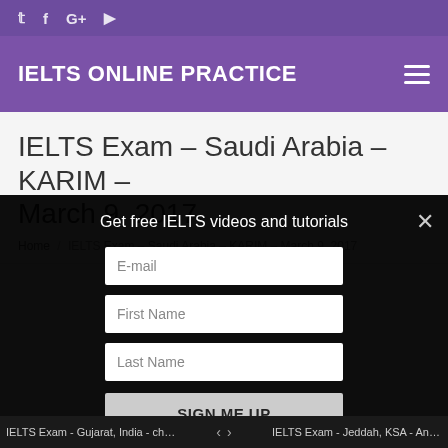IELTS ONLINE PRACTICE
IELTS Exam – Saudi Arabia – KARIM – March 9, 2017
Home / IELTS Exam – Saudi Arabia – KARIM – March 9, 2017
Get free IELTS videos and tutorials
E-mail
First Name
Last Name
SIGN ME UP
IELTS Exam - Gujarat, India - chai...   <   >   IELTS Exam - Jeddah, KSA - Anne ...